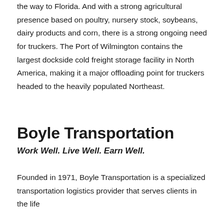the way to Florida. And with a strong agricultural presence based on poultry, nursery stock, soybeans, dairy products and corn, there is a strong ongoing need for truckers. The Port of Wilmington contains the largest dockside cold freight storage facility in North America, making it a major offloading point for truckers headed to the heavily populated Northeast.
Boyle Transportation
Work Well. Live Well. Earn Well.
Founded in 1971, Boyle Transportation is a specialized transportation logistics provider that serves clients in the life